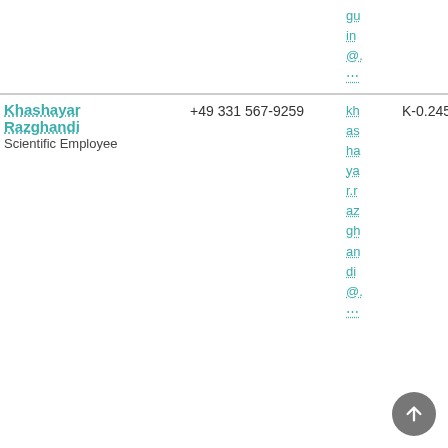| Name | Phone | Email | Room | Extra |
| --- | --- | --- | --- | --- |
|  |  | gu
in
@.
⋯ |  | s |
| Khashayar Razghandi
Scientific Employee | +49 331 567-9259 | kh
as
ha
ya
r.r
az
gh
an
di
@.
⋯ | K-0.245 | F
c
n
R
e
s
@
B
i
c
A
a
a
T |
Scroll to top button